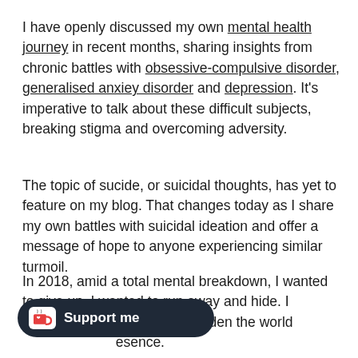I have openly discussed my own mental health journey in recent months, sharing insights from chronic battles with obsessive-compulsive disorder, generalised anxiey disorder and depression. It's imperative to talk about these difficult subjects, breaking stigma and overcoming adversity.
The topic of sucide, or suicidal thoughts, has yet to feature on my blog. That changes today as I share my own battles with suicidal ideation and offer a message of hope to anyone experiencing similar turmoil.
In 2018, amid a total mental breakdown, I wanted to give up. I wanted to run away and hide. I [wanted to stop existing] and unburden the world [of my] [pr]esence.
[Figure (other): Support me button widget — dark rounded pill button with Ko-fi cup icon and red heart, labeled 'Support me']